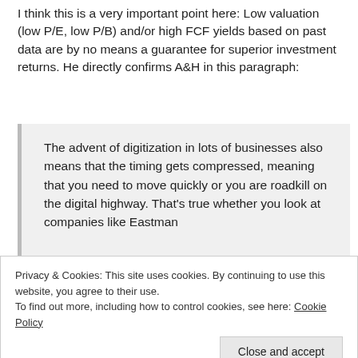I think this is a very important point here: Low valuation (low P/E, low P/B) and/or high FCF yields based on past data are by no means a guarantee for superior investment returns. He directly confirms A&H in this paragraph:
The advent of digitization in lots of businesses also means that the timing gets compressed, meaning that you need to move quickly or you are roadkill on the digital highway. That's true whether you look at companies like Eastman
Privacy & Cookies: This site uses cookies. By continuing to use this website, you agree to their use.
To find out more, including how to control cookies, see here: Cookie Policy
Close and accept
to be anything but.